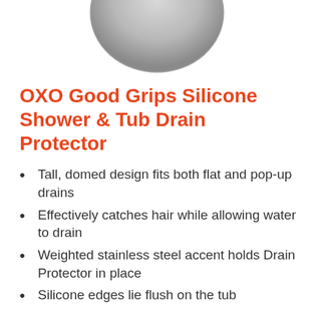[Figure (photo): Partial top view of OXO Good Grips Silicone Shower & Tub Drain Protector product, showing the rounded dome top of the grey silicone device against a white background.]
OXO Good Grips Silicone Shower & Tub Drain Protector
Tall, domed design fits both flat and pop-up drains
Effectively catches hair while allowing water to drain
Weighted stainless steel accent holds Drain Protector in place
Silicone edges lie flush on the tub